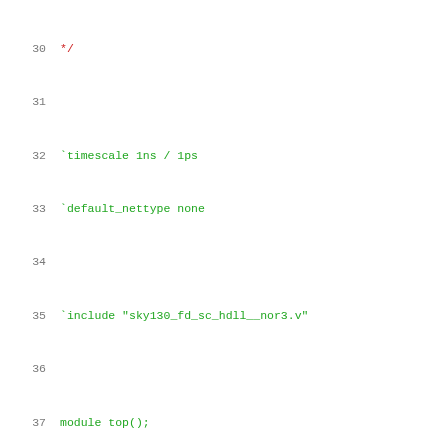Code listing lines 30-51, Verilog testbench source file. Lines shown: 30 (*/) , 31 (empty), 32 (`timescale 1ns / 1ps), 33 (`default_nettype none), 34 (empty), 35 (`include "sky130_fd_sc_hdll__nor3.v"), 36 (empty), 37 (module top();), 38 (empty), 39 (// Inputs are registered), 40 (reg A;), 41 (reg B;), 42 (reg C;), 43 (reg VPWR;), 44 (reg VGND;), 45 (reg VPB;), 46 (reg VNB;), 47 (empty), 48 (// Outputs are wires), 49 (wire Y;), 50 (empty), 51 (initial)